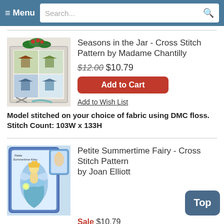≡ Menu  Search...
[Figure (photo): Cross stitch pattern showing four seasonal scenes in small framed vignettes, decorated with holly berries on top, scissors and ribbons below]
Seasons in the Jar - Cross Stitch Pattern by Madame Chantilly
$12.00 $10.79
Add to Cart
Add to Wish List
Model stitched on your choice of fabric using DMC floss. Stitch Count: 103W x 133H
[Figure (photo): Cross stitch pattern of a petite fairy in a blue dress with wings, holding a glowing orb, blue frame border]
Petite Summertime Fairy - Cross Stitch Pattern by Joan Elliott
Sale $10.79